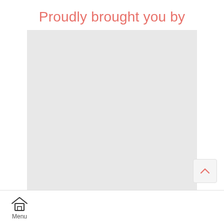Proudly brought you by
[Figure (other): Large light grey placeholder image/advertisement box]
Menu